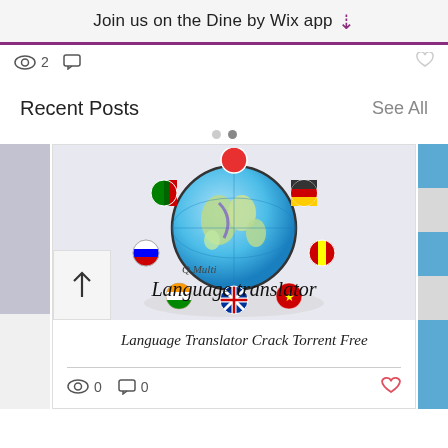Join us on the Dine by Wix app ⬇
[Figure (screenshot): UI interactions row showing eye icon with '2', comment icon, and heart icon on right]
Recent Posts
See All
[Figure (illustration): Q Multi Language translator logo: globe with flag emoji balls around it and italic text 'Q Multi Language translator']
Language Translator Crack Torrent Free
[Figure (screenshot): Post interactions: eye icon '0', comment icon '0', heart icon (red outline)]